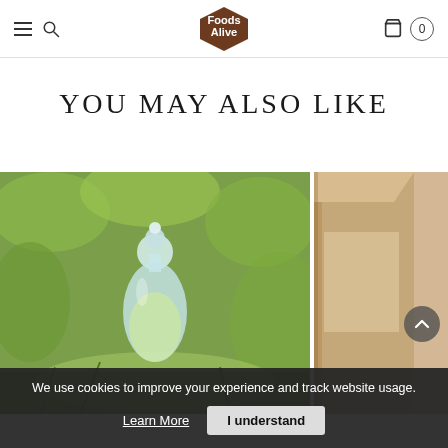Foods Alive — navigation header with hamburger menu, search, logo, cart (0)
YOU MAY ALSO LIKE
[Figure (photo): Glass carafe or oil bottle in a green outdoor/garden setting with blurred green foliage background]
[Figure (photo): Partial view of a product box with kraft/cardboard packaging, cropped on the right side]
We use cookies to improve your experience and track website usage.
Learn More
I understand